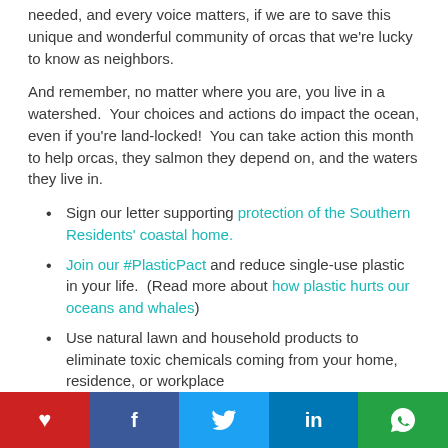needed, and every voice matters, if we are to save this unique and wonderful community of orcas that we're lucky to know as neighbors.
And remember, no matter where you are, you live in a watershed.  Your choices and actions do impact the ocean, even if you're land-locked!  You can take action this month to help orcas, they salmon they depend on, and the waters they live in.
Sign our letter supporting protection of the Southern Residents' coastal home.
Join our #PlasticPact and reduce single-use plastic in your life.  (Read more about how plastic hurts our oceans and whales)
Use natural lawn and household products to eliminate toxic chemicals coming from your home, residence, or workplace
Social share bar: heart, Facebook, Twitter, LinkedIn, WhatsApp